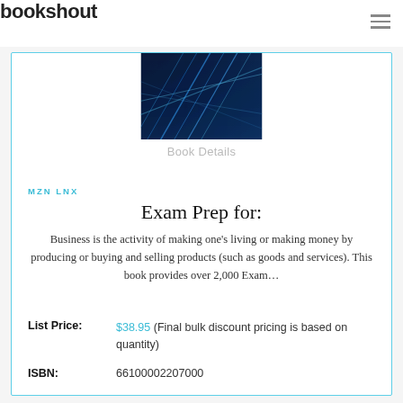bookshout
[Figure (photo): Book cover image with dark blue abstract diagonal lines on a dark background]
Book Details
MZN LNX
Exam Prep for:
Business is the activity of making one's living or making money by producing or buying and selling products (such as goods and services). This book provides over 2,000 Exam…
| List Price: | $38.95 (Final bulk discount pricing is based on quantity) |
| ISBN: | 66100002207000 |